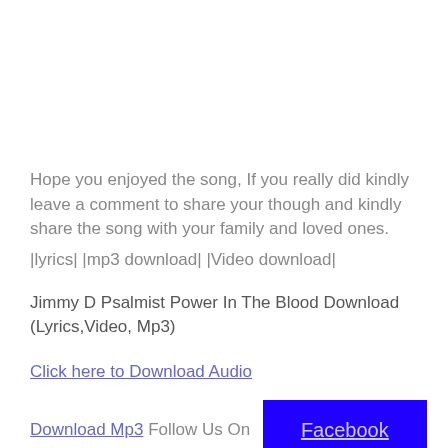Hope you enjoyed the song, If you really did kindly leave a comment to share your though and kindly share the song with your family and loved ones.
|lyrics|  |mp3 download|  |Video download|
Jimmy D Psalmist Power In The Blood Download (Lyrics,Video, Mp3)
Click here to Download Audio
Download Mp3 Follow Us On Facebook